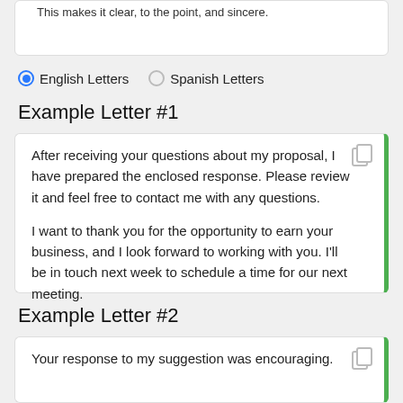This makes it clear, to the point, and sincere.
● English Letters   ○ Spanish Letters
Example Letter #1
After receiving your questions about my proposal, I have prepared the enclosed response. Please review it and feel free to contact me with any questions.

I want to thank you for the opportunity to earn your business, and I look forward to working with you. I'll be in touch next week to schedule a time for our next meeting.
Example Letter #2
Your response to my suggestion was encouraging.